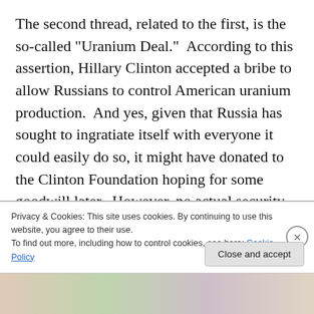The second thread, related to the first, is the so-called “Uranium Deal.”  According to this assertion, Hillary Clinton accepted a bribe to allow Russians to control American uranium production.  And yes, given that Russia has sought to ingratiate itself with everyone it could easily do so, it might have donated to the Clinton Foundation hoping for some goodwill later.  However, no actual security or energy expert has said there was any weakening of the U.S. by the takeover of this one mine.  The Russians don’t even have a license to export the uranium; it is just a Russian company that is managing the
Privacy & Cookies: This site uses cookies. By continuing to use this website, you agree to their use.
To find out more, including how to control cookies, see here: Cookie Policy
Close and accept